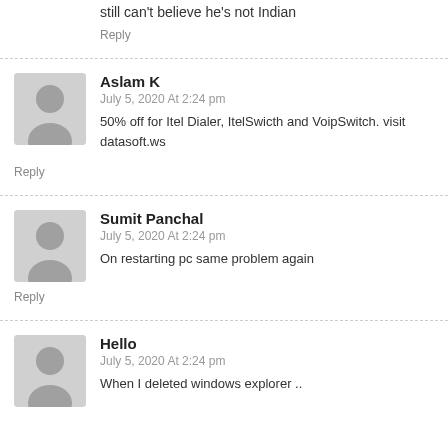still can't believe he's not Indian
Reply
Aslam K
July 5, 2020 At 2:24 pm
50% off for Itel Dialer, ItelSwicth and VoipSwitch. visit datasoft.ws
Reply
Sumit Panchal
July 5, 2020 At 2:24 pm
On restarting pc same problem again
Reply
Hello
July 5, 2020 At 2:24 pm
When I deleted windows explorer ..